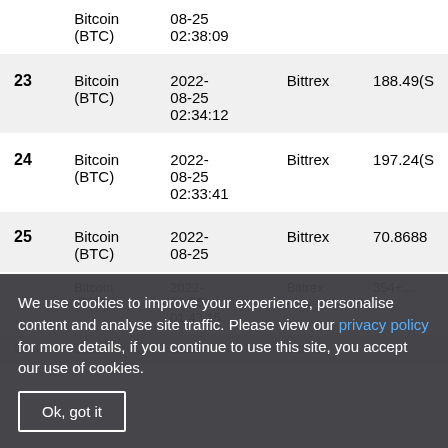| # | Coin | Date/Time | Exchange | Value |
| --- | --- | --- | --- | --- |
|  | Bitcoin (BTC) | 2022-08-25 02:38:09 |  |  |
| 23 | Bitcoin (BTC) | 2022-08-25 02:34:12 | Bittrex | 188.49(S |
| 24 | Bitcoin (BTC) | 2022-08-25 02:33:41 | Bittrex | 197.24(S |
| 25 | Bitcoin (BTC) | 2022-08-25 ... | Bittrex | 70.8688 |
| 26 | Bitcoin (BTC) | 2022-08-25 01:43:15 | Bittrex | 354+... |
| 27 | Bitcoin ... | 2022-... | Bittrex | ... |
We use cookies to improve your experience, personalise content and analyse site traffic. Please view our privacy policy for more details, if you continue to use this site, you accept our use of cookies.